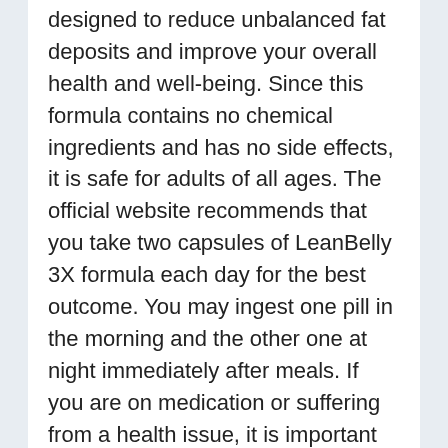designed to reduce unbalanced fat deposits and improve your overall health and well-being. Since this formula contains no chemical ingredients and has no side effects, it is safe for adults of all ages. The official website recommends that you take two capsules of LeanBelly 3X formula each day for the best outcome. You may ingest one pill in the morning and the other one at night immediately after meals. If you are on medication or suffering from a health issue, it is important to talk to your doctor before taking this weight loss formula.
The Official Website of Lean Belly 3X